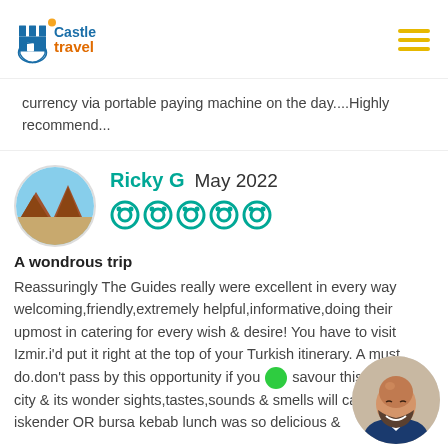Castle Travel
currency via portable paying machine on the day....Highly recommend...
Ricky G  May 2022
A wondrous trip
Reasssuringly The Guides really were excellent in every way welcoming,friendly,extremely helpful,informative,doing their upmost in catering for every wish & desire! You have to visit Izmir.i'd put it right at the top of your Turkish itinerary. A must do.don't pass by this opportunity if you savour this beautiful city & its wonder sights,tastes,sounds & smells will capt ne iskender OR bursa kebab lunch was so delicious &